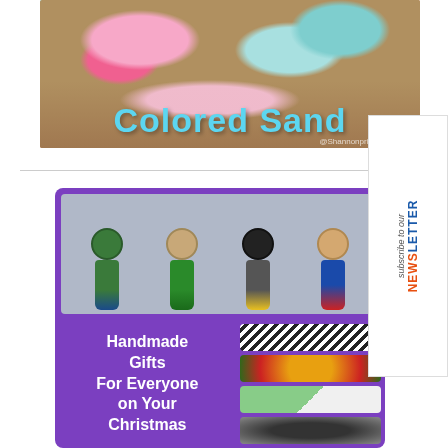[Figure (photo): Photo of colored sand in jars with text 'Colored Sand' overlaid in cyan lettering, showing pink and teal colored sand spilling from glass jars]
[Figure (illustration): Purple-background collage image titled 'Handmade Gifts For Everyone on Your Christmas' showing four painted wooden peg doll superheroes (Hulk, Green Lantern, Batman, Superman) on top, and smaller photos of crafts below on the right side]
[Figure (photo): Subscribe to our Newsletter sidebar banner rotated 90 degrees on right edge of page]